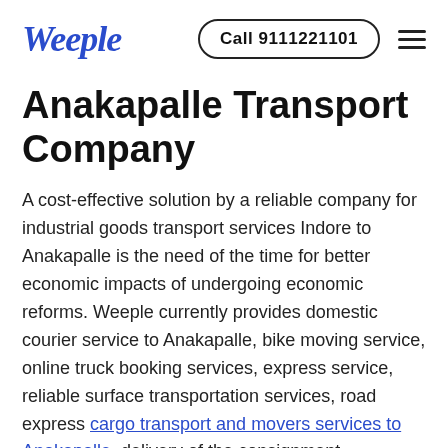Weeple | Call 9111221101
Anakapalle Transport Company
A cost-effective solution by a reliable company for industrial goods transport services Indore to Anakapalle is the need of the time for better economic impacts of undergoing economic reforms. Weeple currently provides domestic courier service to Anakapalle, bike moving service, online truck booking services, express service, reliable surface transportation services, road express cargo transport and movers services to Anakapalle, delivery of the consignment, sequence delivery as per client's suggested